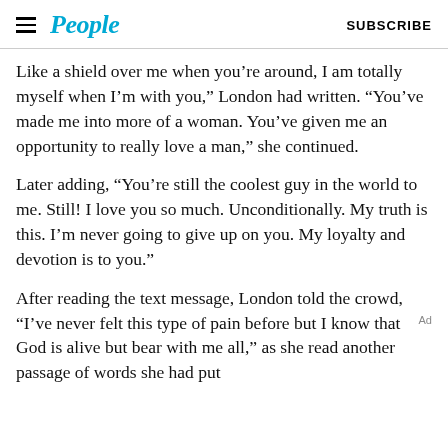People | SUBSCRIBE
Like a shield over me when you’re around, I am totally myself when I’m with you,” London had written. “You’ve made me into more of a woman. You’ve given me an opportunity to really love a man,” she continued.
Later adding, “You’re still the coolest guy in the world to me. Still! I love you so much. Unconditionally. My truth is this. I’m never going to give up on you. My loyalty and devotion is to you.”
After reading the text message, London told the crowd, “I’ve never felt this type of pain before but I know that God is alive but bear with me all,” as she read another passage of words she had put